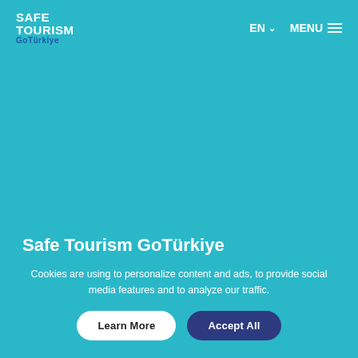SAFE TOURISM GoTürkiye | EN ∨ MENU
Safe Tourism GoTürkiye
Cookies are using to personalize content and ads, to provide social media features and to analyze our traffic.
Learn More
Accept All